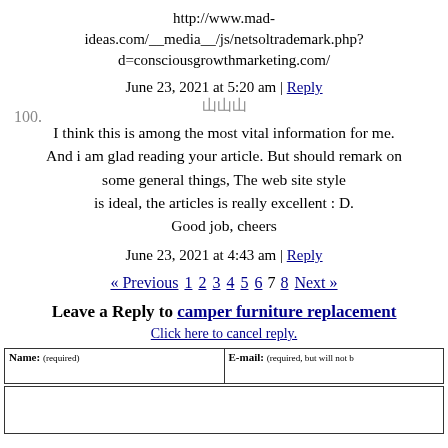http://www.mad-ideas.com/__media__/js/netsoltrademark.php?d=consciousgrowthmarketing.com/
June 23, 2021 at 5:20 am | Reply
100.
山山山
I think this is among the most vital information for me. And i am glad reading your article. But should remark on some general things, The web site style is ideal, the articles is really excellent : D. Good job, cheers
June 23, 2021 at 4:43 am | Reply
« Previous 1 2 3 4 5 6 7 8 Next »
Leave a Reply to camper furniture replacement
Click here to cancel reply.
| Name: (required) | E-mail: (required, but will not be published) |
| --- | --- |
|  |  |